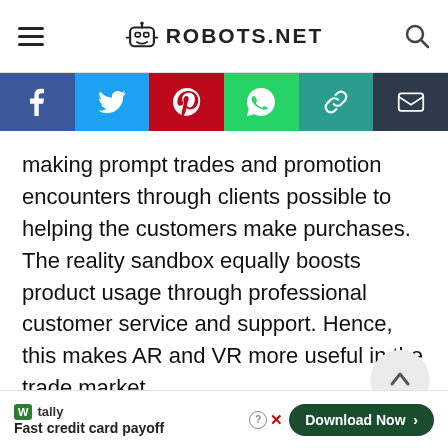ROBOTS.NET
[Figure (other): Social sharing bar with Facebook, Twitter, Pinterest, WhatsApp, Copy Link, and Email buttons]
making prompt trades and promotion encounters through clients possible to helping the customers make purchases. The reality sandbox equally boosts product usage through professional customer service and support. Hence, this makes AR and VR more useful in the trade market.
[Figure (other): Tally advertisement bar: Fast credit card payoff, Download Now button]